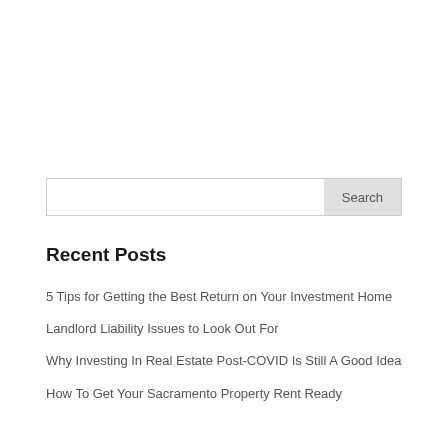[Figure (other): Search input box with a Search button on the right]
Recent Posts
5 Tips for Getting the Best Return on Your Investment Home
Landlord Liability Issues to Look Out For
Why Investing In Real Estate Post-COVID Is Still A Good Idea
How To Get Your Sacramento Property Rent Ready